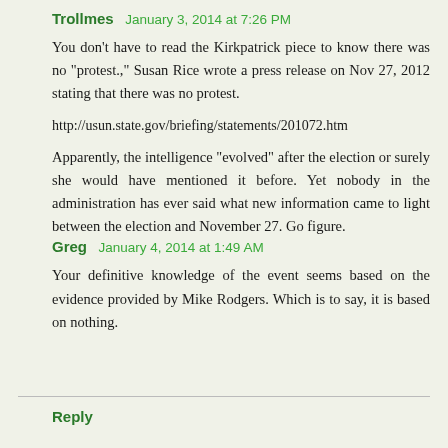Trollmes  January 3, 2014 at 7:26 PM
You don't have to read the Kirkpatrick piece to know there was no "protest.," Susan Rice wrote a press release on Nov 27, 2012 stating that there was no protest.
http://usun.state.gov/briefing/statements/201072.htm
Apparently, the intelligence "evolved" after the election or surely she would have mentioned it before. Yet nobody in the administration has ever said what new information came to light between the election and November 27. Go figure.
Greg  January 4, 2014 at 1:49 AM
Your definitive knowledge of the event seems based on the evidence provided by Mike Rodgers. Which is to say, it is based on nothing.
Reply